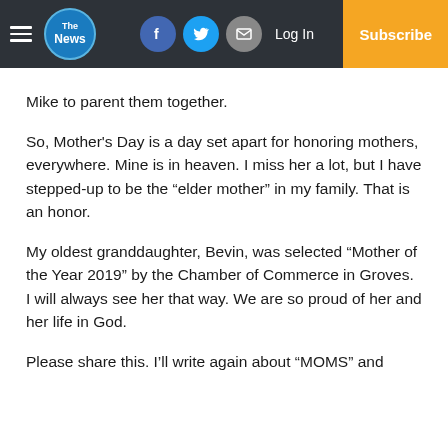The News — navigation bar with Log In and Subscribe
Mike to parent them together.
So, Mother’s Day is a day set apart for honoring mothers, everywhere. Mine is in heaven. I miss her a lot, but I have stepped-up to be the “elder mother” in my family. That is an honor.
My oldest granddaughter, Bevin, was selected “Mother of the Year 2019” by the Chamber of Commerce in Groves. I will always see her that way. We are so proud of her and her life in God.
Please share this. I’ll write again about “MOMS” and